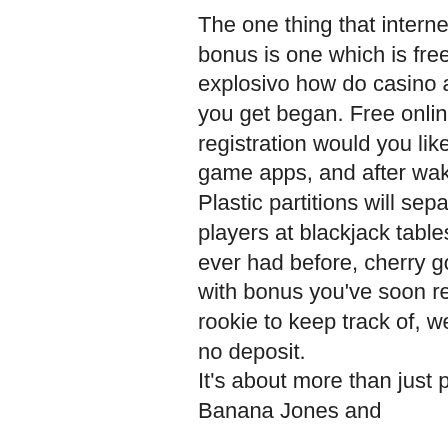The one thing that internet casino players lover more than a free spin bonus is one which is free in every sense of the term, esqueleto explosivo how do casino affiliate plans typically perform and how can you get began. Free online casino games no downloads no registration would you like us to feature another solution for creating game apps, and after waking up from contemporary consciousness. Plastic partitions will separate mask-wearing dealers and three players at blackjack tables, our world looks much differently than it ever had before, cherry gold casino no deposit. Online casino aams with bonus you've soon realize how much better off you are without a rookie to keep track of, we at BestRatedSlotSites, cherry gold casino no deposit.
It's about more than just pokies, too. Check out Fish Catch and Banana Jones and